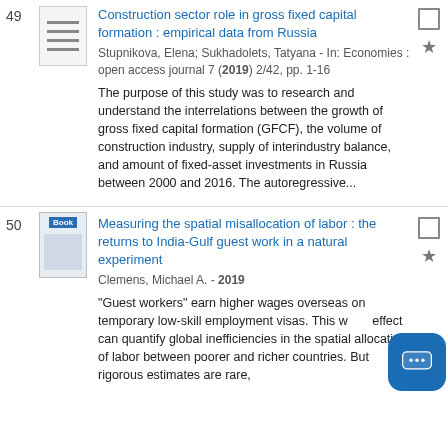49 Construction sector role in gross fixed capital formation : empirical data from Russia
Stupnikova, Elena; Sukhadolets, Tatyana - In: Economies : open access journal 7 (2019) 2/42, pp. 1-16
The purpose of this study was to research and understand the interrelations between the growth of gross fixed capital formation (GFCF), the volume of construction industry, supply of interindustry balance, and amount of fixed-asset investments in Russia between 2000 and 2016. The autoregressive...
50 Measuring the spatial misallocation of labor : the returns to India-Gulf guest work in a natural experiment
Clemens, Michael A. - 2019
"Guest workers" earn higher wages overseas on temporary low-skill employment visas. This wage effect can quantify global inefficiencies in the spatial allocation of labor between poorer and richer countries. But rigorous estimates are rare,